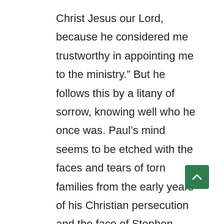Christ Jesus our Lord, because he considered me trustworthy in appointing me to the ministry.” But he follows this by a litany of sorrow, knowing well who he once was. Paul’s mind seems to be etched with the faces and tears of torn families from the early years of his Christian persecution and the face of Stephen whom he oversaw stoned to death. “I was once a blasphemer and a persecutor and arrogant, but I have been mercifully treated because I acted out of ignorance.”
Paul wants us to remember him not so much for who he is, but rather as one whom God has mercifully saved and given new life. Paul points backward and then to the Lord as the one to whom